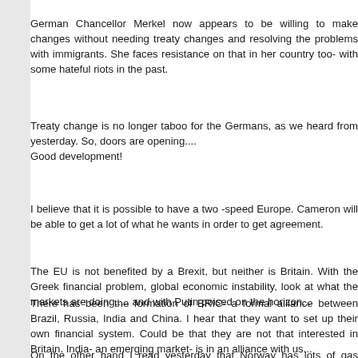German Chancellor Merkel now appears to be w... changes without needing treaty changes and r... problems with immigrants. She faces resistance o... country too- with some hateful riots in the past.
Treaty change is no longer taboo for the Germans, a... from yesterday. So, doors are opening.... Good development!
I believe that it is possible to have a two -speed Euro... be able to get a lot of what he wants in order to get a...
The EU is not benefited by a Brexit, but neither is Br... Greek financial problem, global economic instabi... markets are doing..... and with Putin poised on the h...
There has been the formation of BRIC- a formal allia... between Brazil, Russia, India and China. I hear t... financial system. Could be that they are not that i... Britain. India- an emerging market- is in an alliance w...
On the other hand I read yesterday that Norway ha... gas production. Could be a reason not to turn your ba...